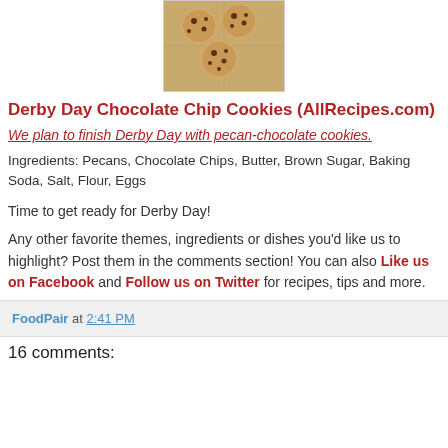[Figure (photo): Photo of chocolate chip cookies on a cooling rack]
Derby Day Chocolate Chip Cookies (AllRecipes.com)
We plan to finish Derby Day with pecan-chocolate cookies.
Ingredients: Pecans, Chocolate Chips, Butter, Brown Sugar, Baking Soda, Salt, Flour, Eggs
Time to get ready for Derby Day!
Any other favorite themes, ingredients or dishes you'd like us to highlight? Post them in the comments section! You can also Like us on Facebook and Follow us on Twitter for recipes, tips and more.
FoodPair at 2:41 PM
16 comments: